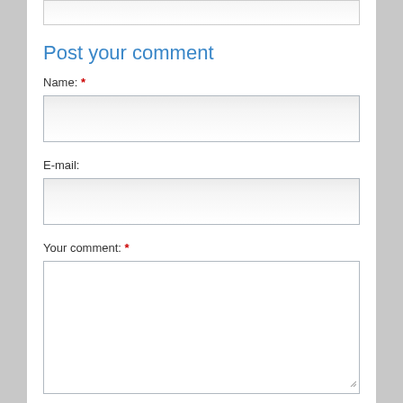Post your comment
Name: *
E-mail:
Your comment: *
Anti Spam Code: